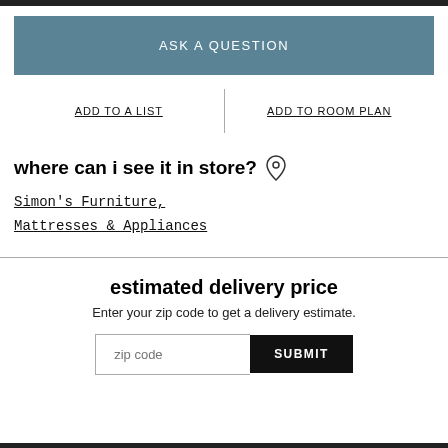ASK A QUESTION
ADD TO A LIST
ADD TO ROOM PLAN
where can i see it in store?
Simon's Furniture, Mattresses & Appliances
estimated delivery price
Enter your zip code to get a delivery estimate.
zip code
SUBMIT